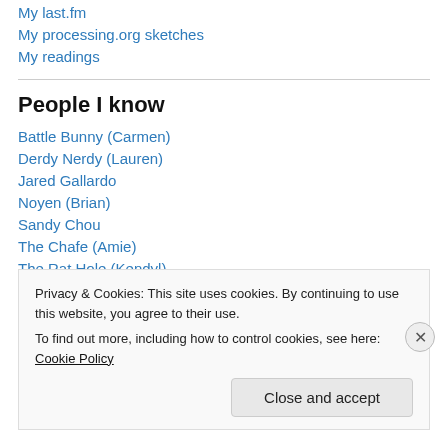My last.fm
My processing.org sketches
My readings
People I know
Battle Bunny (Carmen)
Derdy Nerdy (Lauren)
Jared Gallardo
Noyen (Brian)
Sandy Chou
The Chafe (Amie)
The Rat Hole (Kendyl)
Privacy & Cookies: This site uses cookies. By continuing to use this website, you agree to their use.
To find out more, including how to control cookies, see here: Cookie Policy